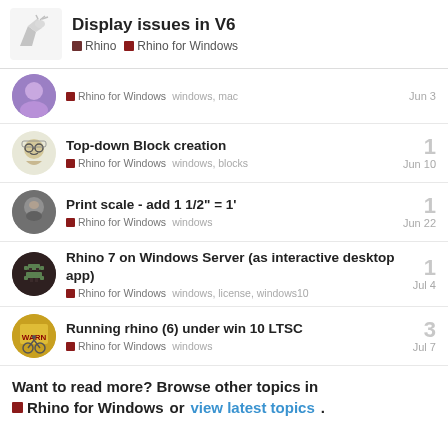Display issues in V6 | Rhino | Rhino for Windows
Rhino for Windows   windows, mac   Jun 3
Top-down Block creation | Rhino for Windows   windows, blocks   Jun 10   1
Print scale - add 1 1/2" = 1' | Rhino for Windows   windows   Jun 22   1
Rhino 7 on Windows Server (as interactive desktop app) | Rhino for Windows   windows, license, windows10   Jul 4   1
Running rhino (6) under win 10 LTSC | Rhino for Windows   windows   Jul 7   3
Want to read more? Browse other topics in Rhino for Windows or view latest topics.